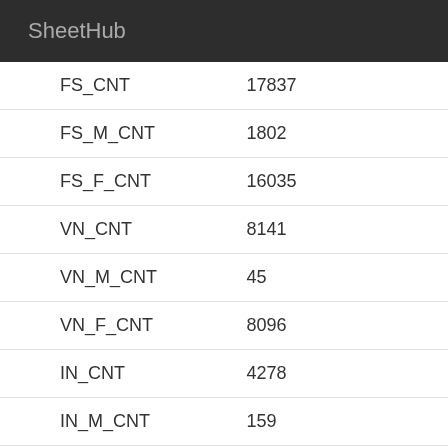SheetHub
| FS_CNT | 17837 |
| FS_M_CNT | 1802 |
| FS_F_CNT | 16035 |
| VN_CNT | 8141 |
| VN_M_CNT | 45 |
| VN_F_CNT | 8096 |
| IN_CNT | 4278 |
| IN_M_CNT | 159 |
| IN_F_CNT | 4119 |
| TH_CNT | 2200 |
| TH_M_CNT | 738 |